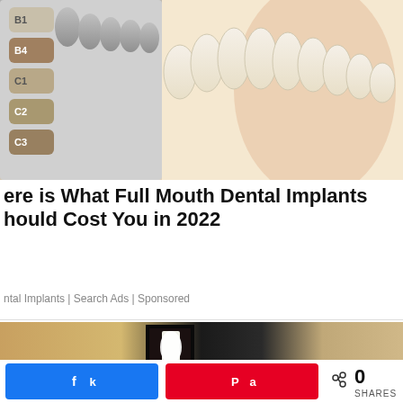[Figure (photo): Dental tooth shade guide with labeled color swatches (B1, B4, C1, C2, C3) next to natural teeth, used for dental implant color matching]
ere is What Full Mouth Dental Implants hould Cost You in 2022
ntal Implants | Search Ads | Sponsored
[Figure (photo): Close-up photo of a dark metal outdoor wall lantern light fixture mounted on a textured stucco wall, with a bright white LED bulb visible inside]
k  (Facebook share button)  a  (Pinterest share button)  < 0 SHARES